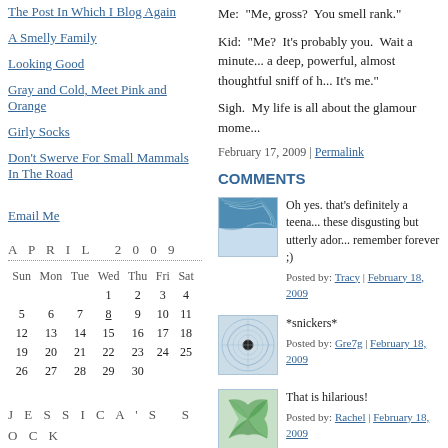The Post In Which I Blog Again
A Smelly Family
Looking Good
Gray and Cold, Meet Pink and Orange
Girly Socks
Don't Swerve For Small Mammals In The Road
Email Me
APRIL 2009
| Sun | Mon | Tue | Wed | Thu | Fri | Sat |
| --- | --- | --- | --- | --- | --- | --- |
|  |  |  | 1 | 2 | 3 | 4 |
| 5 | 6 | 7 | 8 | 9 | 10 | 11 |
| 12 | 13 | 14 | 15 | 16 | 17 | 18 |
| 19 | 20 | 21 | 22 | 23 | 24 | 25 |
| 26 | 27 | 28 | 29 | 30 |  |  |
JESSICA'S SOCK COUNTDOWN 2009
Me:  "Me, gross?  You smell rank."
Kid:  "Me?  It's probably you.  Wait a minute..." and then takes a deep, powerful, almost thoughtful sniff of himself.  "...Yep.  It's me."
Sigh.  My life is all about the glamour mome...
February 17, 2009 | Permalink
COMMENTS
[Figure (illustration): Blue geometric spiral pattern avatar]
Oh yes. that's definitely a teenage... these disgusting but utterly ador... remember forever ;)
Posted by: Tracy | February 18, 2009
[Figure (illustration): Blue circular spiral pattern avatar]
*snickers*
Posted by: Gre7g | February 18, 2009
[Figure (illustration): Green spiral pattern avatar]
That is hilarious!
Posted by: Rachel | February 18, 2009